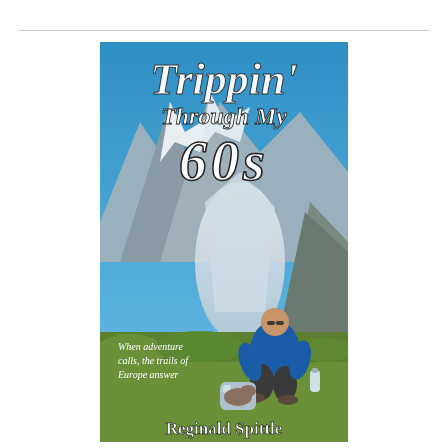[Figure (illustration): Book cover of 'Trippin' Through My 60s' by Reginald Spittle. Features a photo of a man in a blue jacket sitting on a grassy Alpine hillside with dramatic snow-capped mountains and glacier in the background under a blue sky. The title text appears in large white italic serif font at the top. A subtitle reads 'When adventure calls, the trails of Europe answer'. The author name 'Reginald Spittle' appears at the bottom.]